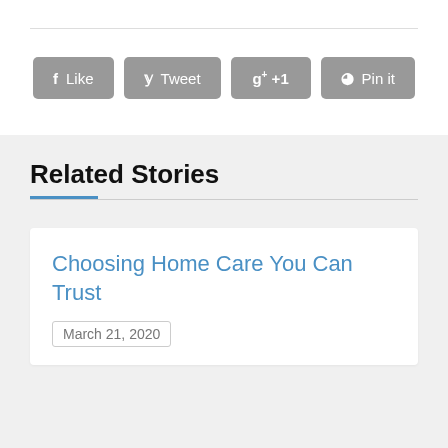[Figure (other): Social sharing buttons: Like (Facebook), Tweet (Twitter), g+ +1 (Google Plus), Pin it (Pinterest) — all styled as rounded gray buttons]
Related Stories
Choosing Home Care You Can Trust
March 21, 2020